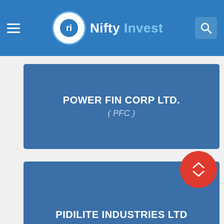Nifty Invest
POWER FIN CORP LTD. ( PFC )
PIDILITE INDUSTRIES LTD ( PIDILITIND )
PI INDUSTRIES LTD ( PIIND )
PUNJAB NATIONAL BANK